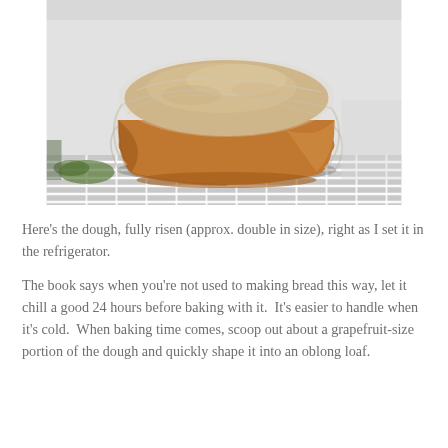[Figure (photo): A large terra-cotta/amber ceramic bowl covered with plastic wrap, sitting on a white refrigerator wire shelf. The bowl is full of risen bread dough that is pushing up against the plastic wrap, photographed inside a refrigerator.]
Here’s the dough, fully risen (approx. double in size), right as I set it in the refrigerator.
The book says when you’re not used to making bread this way, let it chill a good 24 hours before baking with it.  It’s easier to handle when it’s cold.  When baking time comes, scoop out about a grapefruit-size portion of the dough and quickly shape it into an oblong loaf.